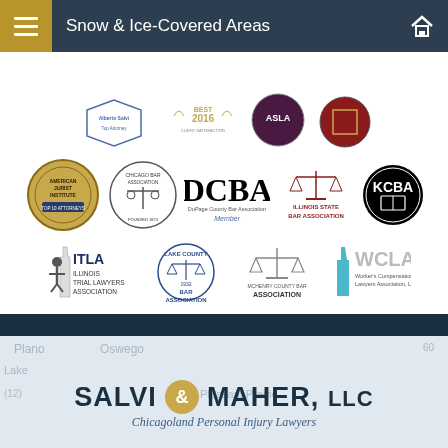Snow & Ice-Covered Areas
[Figure (screenshot): Mobile website screenshot for Salvi & Maher, LLC law firm showing navigation bar with Call Us, Email, and Offices options, rows of legal association logos including American Jurist Institute, Chicago Bar Association, DCBA, Illinois State Bar Association, KCBA, ITLA, Lake County Bar Association, McHenry County Bar Association, WCLA, and Martindale-Hubbell Client Champion Platinum 2022 badge, followed by the firm logo Salvi & Maher, LLC - Chicagoland Personal Injury Lawyers over a map background]